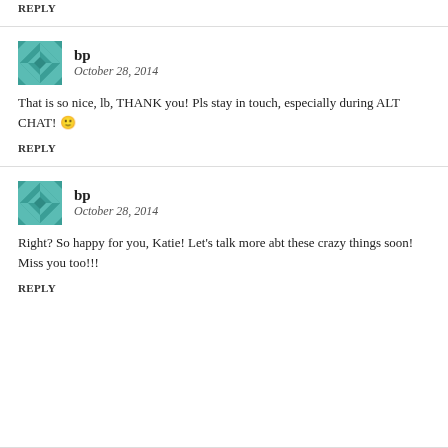Reply
bp
October 28, 2014
That is so nice, lb, THANK you! Pls stay in touch, especially during ALT CHAT! 🙂
Reply
bp
October 28, 2014
Right? So happy for you, Katie! Let's talk more abt these crazy things soon! Miss you too!!!
Reply